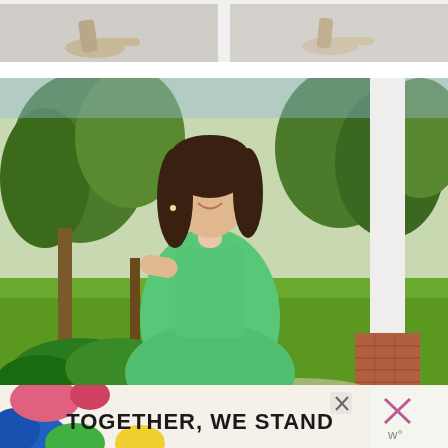[Figure (photo): Top strip showing two close-up shots of women's heeled shoes on a grey floor surface, side by side.]
[Figure (photo): Portrait photo of a smiling brunette woman wearing a mint green sleeveless dress, standing outdoors near a white column and brick base, with trees visible in the background.]
[Figure (infographic): Advertisement banner at the bottom reading 'TOGETHER, WE STAND' in bold black text on a colorful background with pink, blue, green, and yellow shapes. Also shows close/dismiss X buttons and a 'w°' logo on the right side.]